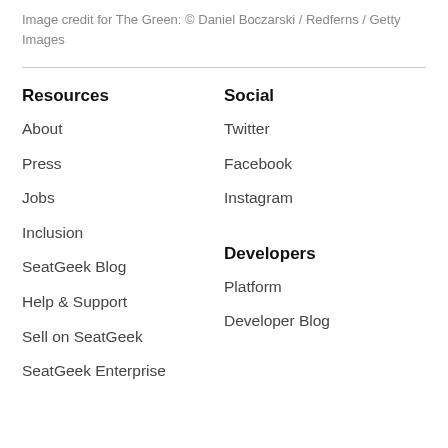Image credit for The Green: © Daniel Boczarski / Redferns / Getty Images
Resources
About
Press
Jobs
Inclusion
SeatGeek Blog
Help & Support
Sell on SeatGeek
SeatGeek Enterprise
Social
Twitter
Facebook
Instagram
Developers
Platform
Developer Blog